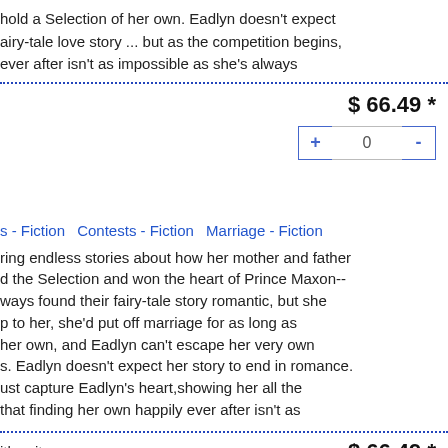hold a Selection of her own. Eadlyn doesn't expect a fairy-tale love story ... but as the competition begins, happily ever after isn't as impossible as she's always
$ 66.49 *
0
s - Fiction   Contests - Fiction   Marriage - Fiction
ring endless stories about how her mother and father d the Selection and won the heart of Prince Maxon-- ways found their fairy-tale story romantic, but she p to her, she'd put off marriage for as long as her own, and Eadlyn can't escape her very own s. Eadlyn doesn't expect her story to end in romance. ust capture Eadlyn's heart,showing her all the that finding her own happily ever after isn't as
ithwaite
$ 66.49 *